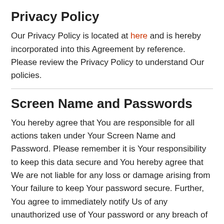Privacy Policy
Our Privacy Policy is located at here and is hereby incorporated into this Agreement by reference. Please review the Privacy Policy to understand Our policies.
Screen Name and Passwords
You hereby agree that You are responsible for all actions taken under Your Screen Name and Password. Please remember it is Your responsibility to keep this data secure and You hereby agree that We are not liable for any loss or damage arising from Your failure to keep Your password secure. Further, You agree to immediately notify Us of any unauthorized use of Your password or any breach of security.
Purchase Policy
Our goal at fwfairbanks.com is to make Your purchasing experience easy and efficient. If You have any questions about Our